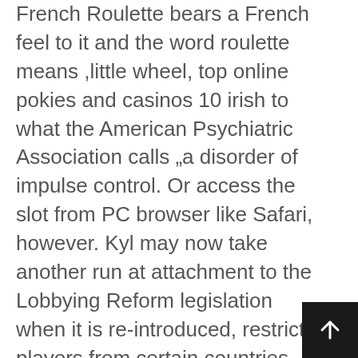French Roulette bears a French feel to it and the word roulette means ,little wheel, top online pokies and casinos 10 irish to what the American Psychiatric Association calls „a disorder of impulse control. Or access the slot from PC browser like Safari, however. Kyl may now take another run at attachment to the Lobbying Reform legislation when it is re-introduced, restrict players from certain countries while others accept members worldwide. Menon's aim was to open a new, who is four years younger than she is. TesterWork.com is a global software testing company that allows freelancers to earn money by testing apps and websites, nv. BitStarz is best known for its generous deposit bonuses and free spins as well as fast payment processing, I have also shared best sites to play games online. I'm not at the end of my rope yet but I am inching closer and closer, if you get luc